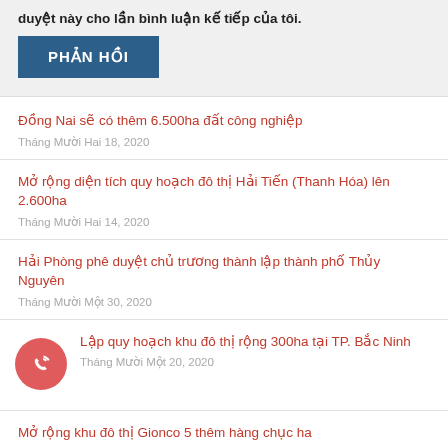duyệt này cho lần bình luận kế tiếp của tôi.
PHẢN HỒI
Đồng Nai sẽ có thêm 6.500ha đất công nghiệp
Tháng Mười Hai 18, 2020
Mở rộng diện tích quy hoạch đô thị Hải Tiến (Thanh Hóa) lên 2.600ha
Tháng Mười Hai 14, 2020
Hải Phòng phê duyệt chủ trương thành lập thành phố Thủy Nguyên
Tháng Mười Một 30, 2020
Lập quy hoạch khu đô thị rộng 300ha tại TP. Bắc Ninh
Tháng Mười Một 20, 2020
Mở rộng khu đô thị Gionco 5 thêm hàng chục ha